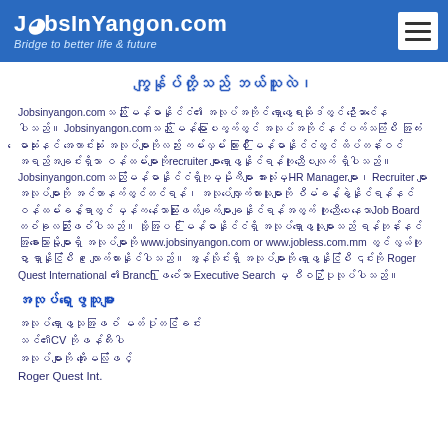JobsInYangon.com — Bridge to better life & future
ကျွန်ုပ်တို့သည် ဘယ်သူလဲ၊
Jobsinyangon.comသည် မြန်မာနိုင်ငံ၏ အလုပ်အကိုင် ရှာဖွေရေးဆိုဒ်တွင် ဦးဆောင်နေပါသည်။ Jobsinyangon.comသည် မြန်မာပြေးကွက်တွင် အလုပ်အကိုင်နင်ပက်သက်ပြီး အကြံးမောဆုံးနင် အကောင်းဆုံး အလုပ်များကိုလည်း ကမ်းလှမ်း ထားပြီး မြန်မာနိုင်ငံတွင် ထိပ်တန်းဝင်အရည်အချင်းရှိသာ ဝန်ထမ်းများကိုrecruiter များရှာဖွေနိုင်ရန်ကူညီပေးလျက် ရှိပါသည်။ Jobsinyangon.comသည်မြန်မာနိုင်ငံရှိကုမ္မိုကီများ အားလုံးမှHR Managerများ၊ Recruiter များ အလုပ်များကို အင်တာနက်တွက်တင်ရန်၊ အလုပ်လျှောက်ထားသူများကို စီမံခန့်ခွဲနိုင်ရန်နင် ဝန်ထမ်းခန့်ရာတွင် မှန်ကန်သောဆုံးဖြတ်ချက်များချနိုင်ရန်အတွက် ကူညီပေးနေသောJob Board တစ်ခုလည်းဖြစ်ပါသည်။ ထို့အပြင် မြန်မာနိုင်ငံရှိ အလုပ်ရှာဖွေသူများသည် ရန်တုန်းနင် အခြားသောမြို့များရှိ အလုပ်များကို www.jobsinyangon.com or www.jobless.com.mm တွင် လွယ်ကူစွာ ရှာနိုင်ပြီး ၉ လျောက်ထားနိုင်ပါသည်။ အွန်လိုင်းရှိ အလုပ်များကို ရှာဖွေနိုင်ပြီး ၎င်းကို Roger Quest International ၏ Branch ဖြစ်သော Executive Search မှ စီစဉ်ပြုလုပ်ပါသည်။
အလုပ်ရှာဖွေသူများ
အလုပ်ရှာဖွေသုအဖြစ် မတ်ပုံတင်ခြင်း
သင်၏CV ကိုဖန်တီးပါ
အလုပ်များကို အိုးမေလ်ဖြင့်
Roger Quest Int.